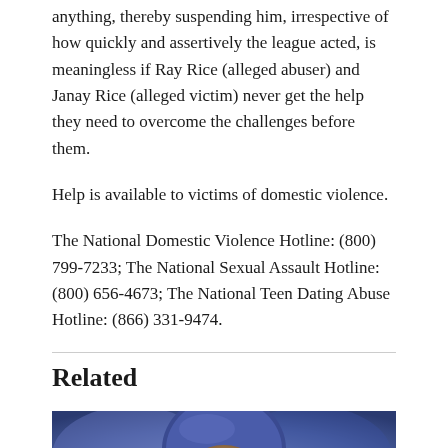anything, thereby suspending him, irrespective of how quickly and assertively the league acted, is meaningless if Ray Rice (alleged abuser) and Janay Rice (alleged victim) never get the help they need to overcome the challenges before them.
Help is available to victims of domestic violence.
The National Domestic Violence Hotline: (800) 799-7233; The National Sexual Assault Hotline: (800) 656-4673; The National Teen Dating Abuse Hotline: (866) 331-9474.
Related
[Figure (photo): Football player wearing a purple helmet, viewed from face level, blurred background]